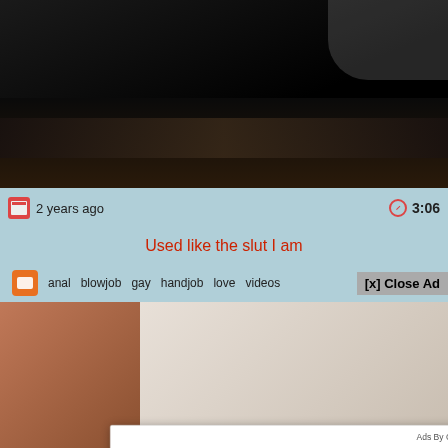[Figure (screenshot): Screenshot of a video website page showing a video thumbnail at top (dark scene), metadata bar with '2 years ago' and '3:06', title 'Used like the slut I am' in red, tags row, and a popup ad overlay from ClickAdilla saying 'Kate sent you (5) pictures / Click OK to display the photo' with a blue Ok button, overlaying a second video thumbnail below.]
2 years ago
3:06
Used like the slut I am
anal  blowjob  gay  handjob  love  videos
[x] Close Ad
Ads By ClickAdilla
Kate sent you (5) pictures
Click OK to display the photo
Ok
Ok
a1h